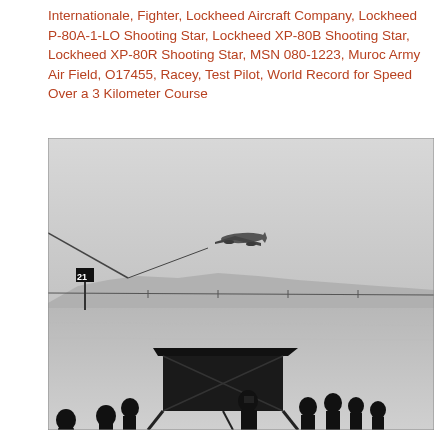Internationale, Fighter, Lockheed Aircraft Company, Lockheed P-80A-1-LO Shooting Star, Lockheed XP-80B Shooting Star, Lockheed XP-80R Shooting Star, MSN 080-1223, Muroc Army Air Field, O17455, Racey, Test Pilot, World Record for Speed Over a 3 Kilometer Course
[Figure (photo): Black and white photograph showing a jet aircraft (Lockheed Shooting Star) flying low over a dry lakebed at Muroc Army Air Field. In the foreground, silhouettes of observers and ground crew watch near a canopy structure. A timing marker post with the number '21' is visible on the left. A horizontal wire or cable stretches across the midground. Mountains are faintly visible in the background.]